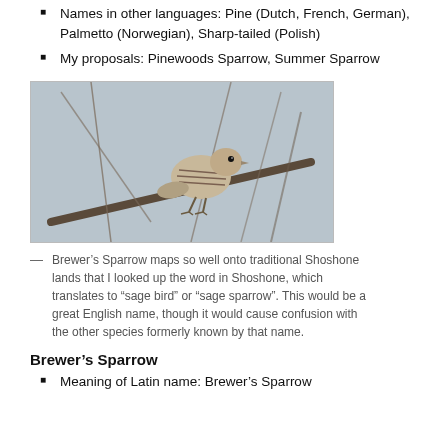Names in other languages: Pine (Dutch, French, German), Palmetto (Norwegian), Sharp-tailed (Polish)
My proposals: Pinewoods Sparrow, Summer Sparrow
[Figure (photo): A small streaked sparrow perched on a branch against a light blue-gray sky background.]
Brewer’s Sparrow maps so well onto traditional Shoshone lands that I looked up the word in Shoshone, which translates to “sage bird” or “sage sparrow”. This would be a great English name, though it would cause confusion with the other species formerly known by that name.
Brewer’s Sparrow
Meaning of Latin name: Brewer’s Sparrow